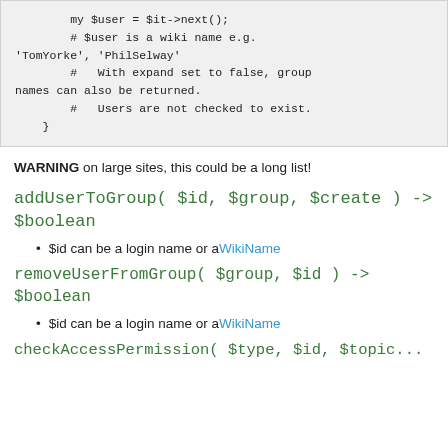[Figure (screenshot): Code block showing Perl code snippet with comments about $user being a wiki name, expand set to false, group names, and users not checked to exist.]
WARNING on large sites, this could be a long list!
addUserToGroup( $id, $group, $create ) -> $boolean
$id can be a login name or a WikiName
removeUserFromGroup( $group, $id ) -> $boolean
$id can be a login name or a WikiName
checkAccessPermission( $type, $id, $topic...